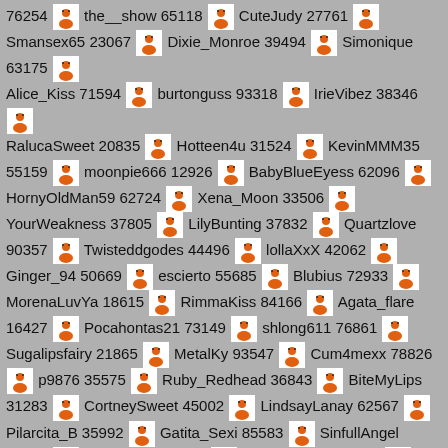76254 [icon] the__show 65118 [icon] CuteJudy 27761 [icon] Smansex65 23067 [icon] Dixie_Monroe 39494 [icon] Simonique 63175 [icon] Alice_Kiss 71594 [icon] burtonguss 93318 [icon] IrieVibez 38346 [icon] RalucaSweet 20835 [icon] Hotteen4u 31524 [icon] KevinMMM35 55159 [icon] moonpie666 12926 [icon] BabyBlueEyess 62096 [icon] HornyOldMan59 62724 [icon] Xena_Moon 33506 [icon] YourWeakness 37805 [icon] LilyBunting 37832 [icon] Quartzlove 90357 [icon] Twisteddgodes 44496 [icon] lollaXxX 42062 [icon] Ginger_94 50669 [icon] escierto 55685 [icon] Blubius 72933 [icon] MorenaLuvYa 18615 [icon] RimmaKiss 84166 [icon] Agata_flare 16427 [icon] Pocahontas21 73149 [icon] shlong611 76861 [icon] Sugalipsfairy 21865 [icon] MetalKy 93547 [icon] Cum4mexx 78826 [icon] p9876 35575 [icon] Ruby_Redhead 36843 [icon] BiteMyLips 31283 [icon] CortneySweet 45002 [icon] LindsayLanay 62567 [icon] Pilarcita_B 35992 [icon] Gatita_Sexi 85583 [icon] SinfullAngel 65051 [icon] A_blisstime 29537 [icon] FuzzyCatts69 93210 [icon] Kamara4 57970 [icon] Kittee_Lee 94960 [icon] DeftTongues 96203 [icon] Paradee